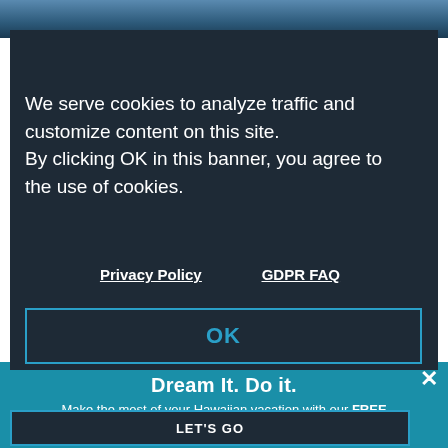[Figure (screenshot): Website screenshot showing a cookie consent banner overlay on a travel website (Lana'i Ocean Sports). The dark overlay reads: 'We serve cookies to analyze traffic and customize content on this site. By clicking OK in this banner, you agree to the use of cookies.' with Privacy Policy and GDPR FAQ links and an OK button. A teal promotional banner at bottom reads 'Dream It. Do it.' with text about a free Official Visitors' Guide and a LET'S GO button.]